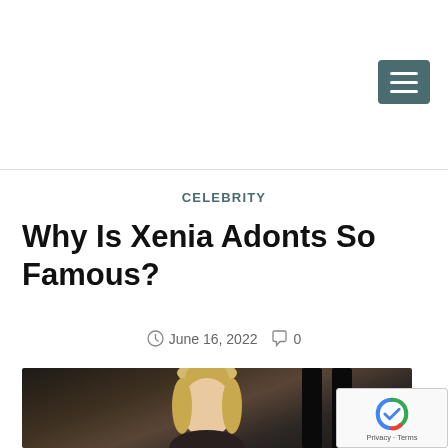[Figure (screenshot): Hamburger menu button icon with three horizontal white lines on a teal/dark green background]
CELEBRITY
Why Is Xenia Adonts So Famous?
June 16, 2022   0
[Figure (photo): Photo of a blonde woman with hair up in a bun, looking slightly downward, in a dark indoor setting]